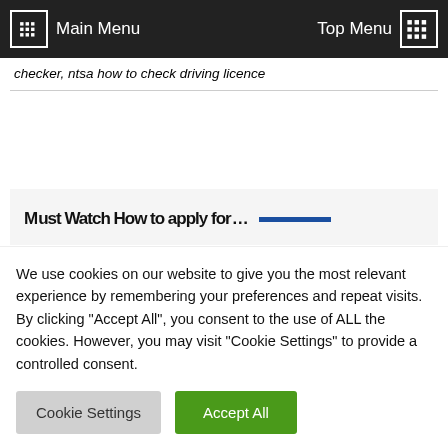Main Menu | Top Menu
checker, ntsa how to check driving licence
[Figure (screenshot): Partially visible content card with bold heading 'Must Watch How to apply for...' and a blue underline bar]
We use cookies on our website to give you the most relevant experience by remembering your preferences and repeat visits. By clicking "Accept All", you consent to the use of ALL the cookies. However, you may visit "Cookie Settings" to provide a controlled consent.
Cookie Settings | Accept All